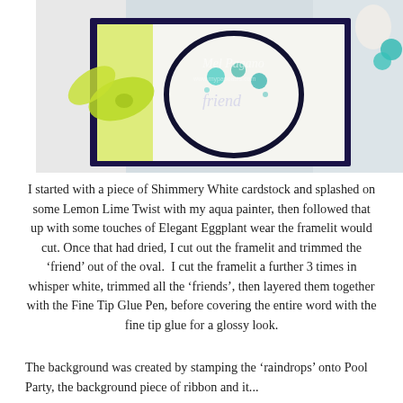[Figure (photo): A handmade greeting card with a lime green bow, dark navy border, and a circular oval framelit with the word 'friend' and teal/aqua flowers. Watermark overlay reads 'Mel Pagano' with website www.mypapoasis.com.]
I started with a piece of Shimmery White cardstock and splashed on some Lemon Lime Twist with my aqua painter, then followed that up with some touches of Elegant Eggplant wear the framelit would cut. Once that had dried, I cut out the framelit and trimmed the ‘friend’ out of the oval.  I cut the framelit a further 3 times in whisper white, trimmed all the ‘friends’, then layered them together with the Fine Tip Glue Pen, before covering the entire word with the fine tip glue for a glossy look.
The background was created by stamping the ‘raindrops’ onto Pool Party, the background piece of ribbon and it...